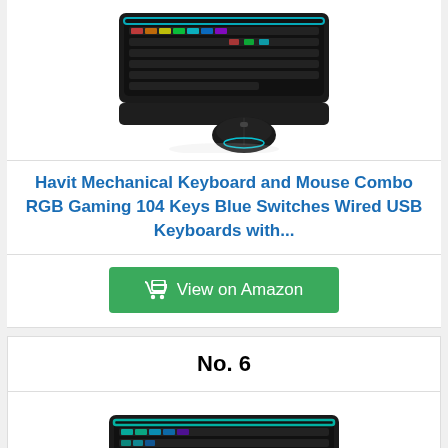[Figure (photo): RGB gaming keyboard and mouse combo product photo on white background]
Havit Mechanical Keyboard and Mouse Combo RGB Gaming 104 Keys Blue Switches Wired USB Keyboards with...
View on Amazon
No. 6
[Figure (photo): RGB mechanical gaming keyboard product photo, partially visible]